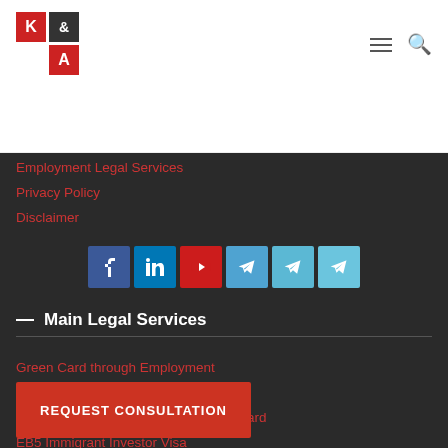[Figure (logo): K & A law firm logo with red boxes]
Employment Legal Services
Privacy Policy
Disclaimer
[Figure (infographic): Social media icons row: Facebook, LinkedIn, YouTube, Telegram (x3)]
— Main Legal Services
Green Card through Employment
EB-1 Employment Based Green Card
EB2/NIW Employment Based Green Card
EB5 Immigrant Investor Visa
L1 Visa for Temporary Workers
REQUEST CONSULTATION